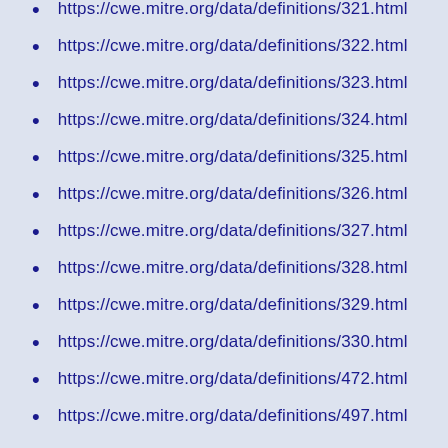https://cwe.mitre.org/data/definitions/321.html
https://cwe.mitre.org/data/definitions/322.html
https://cwe.mitre.org/data/definitions/323.html
https://cwe.mitre.org/data/definitions/324.html
https://cwe.mitre.org/data/definitions/325.html
https://cwe.mitre.org/data/definitions/326.html
https://cwe.mitre.org/data/definitions/327.html
https://cwe.mitre.org/data/definitions/328.html
https://cwe.mitre.org/data/definitions/329.html
https://cwe.mitre.org/data/definitions/330.html
https://cwe.mitre.org/data/definitions/472.html
https://cwe.mitre.org/data/definitions/497.html